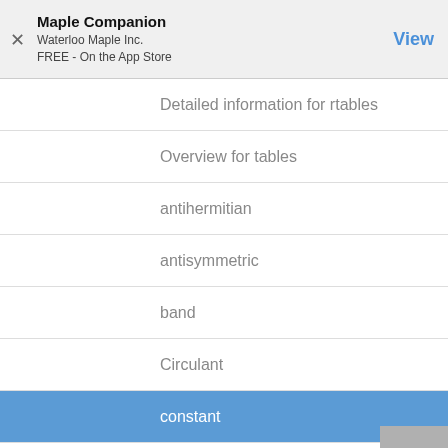Maple Companion
Waterloo Maple Inc.
FREE - On the App Store
Detailed information for rtables
Overview for tables
antihermitian
antisymmetric
band
Circulant
constant
diagonal
exception